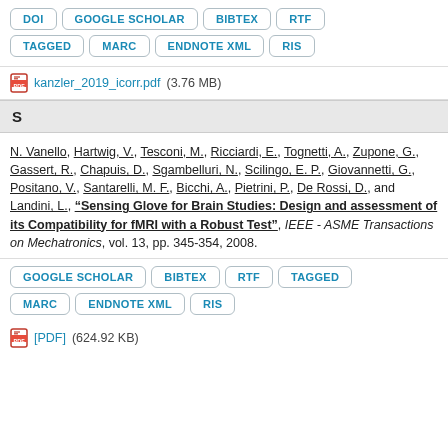DOI | GOOGLE SCHOLAR | BIBTEX | RTF | TAGGED | MARC | ENDNOTE XML | RIS
kanzler_2019_icorr.pdf (3.76 MB)
S
N. Vanello, Hartwig, V., Tesconi, M., Ricciardi, E., Tognetti, A., Zupone, G., Gassert, R., Chapuis, D., Sgambelluri, N., Scilingo, E. P., Giovannetti, G., Positano, V., Santarelli, M. F., Bicchi, A., Pietrini, P., De Rossi, D., and Landini, L., "Sensing Glove for Brain Studies: Design and assessment of its Compatibility for fMRI with a Robust Test", IEEE - ASME Transactions on Mechatronics, vol. 13, pp. 345-354, 2008.
GOOGLE SCHOLAR | BIBTEX | RTF | TAGGED | MARC | ENDNOTE XML | RIS
[PDF] (624.92 KB)